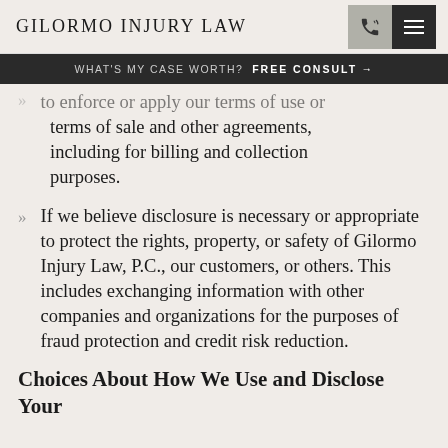GILORMO INJURY LAW
WHAT'S MY CASE WORTH? FREE CONSULT →
to enforce or apply our terms of use or terms of sale and other agreements, including for billing and collection purposes.
If we believe disclosure is necessary or appropriate to protect the rights, property, or safety of Gilormo Injury Law, P.C., our customers, or others. This includes exchanging information with other companies and organizations for the purposes of fraud protection and credit risk reduction.
Choices About How We Use and Disclose Your